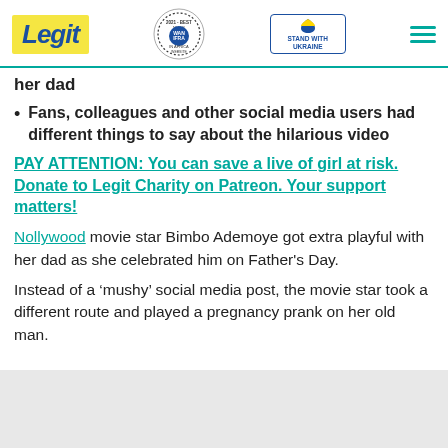Legit | WAN IFRA 2021 Best News Website in Africa | Stand With Ukraine
her dad
Fans, colleagues and other social media users had different things to say about the hilarious video
PAY ATTENTION: You can save a live of girl at risk. Donate to Legit Charity on Patreon. Your support matters!
Nollywood movie star Bimbo Ademoye got extra playful with her dad as she celebrated him on Father's Day.
Instead of a ‘mushy’ social media post, the movie star took a different route and played a pregnancy prank on her old man.